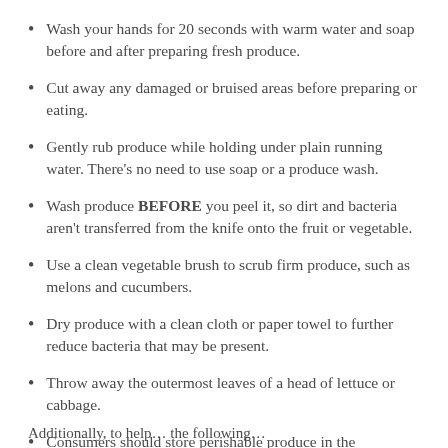Wash your hands for 20 seconds with warm water and soap before and after preparing fresh produce.
Cut away any damaged or bruised areas before preparing or eating.
Gently rub produce while holding under plain running water. There’s no need to use soap or a produce wash.
Wash produce BEFORE you peel it, so dirt and bacteria aren’t transferred from the knife onto the fruit or vegetable.
Use a clean vegetable brush to scrub firm produce, such as melons and cucumbers.
Dry produce with a clean cloth or paper towel to further reduce bacteria that may be present.
Throw away the outermost leaves of a head of lettuce or cabbage.
Consumers should store perishable produce in the refrigerator at 40 degrees or below.
Additionally, to help … the following …